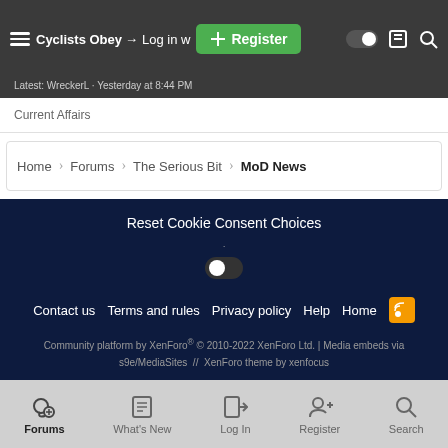Cyclists Obey → Log in  Register
Latest: WreckerL · Yesterday at 8:44 PM
Current Affairs
Home › Forums › The Serious Bit › MoD News
Reset Cookie Consent Choices
Contact us   Terms and rules   Privacy policy   Help   Home
Community platform by XenForo® © 2010-2022 XenForo Ltd. | Media embeds via s9e/MediaSites  //  XenForo theme by xenfocus
Forums   What's New   Log In   Register   Search